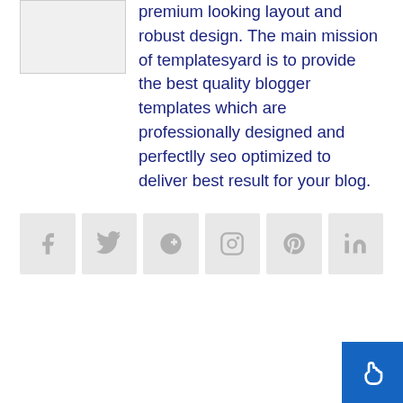[Figure (other): Avatar/profile placeholder image box (gray rectangle with border)]
premium looking layout and robust design. The main mission of templatesyard is to provide the best quality blogger templates which are professionally designed and perfectlly seo optimized to deliver best result for your blog.
[Figure (other): Row of six social media icon buttons (Facebook, Twitter, Google+, Instagram, Pinterest, LinkedIn) with light gray background squares]
[Figure (other): Blue back-to-top button in bottom right corner with hand/cursor icon]